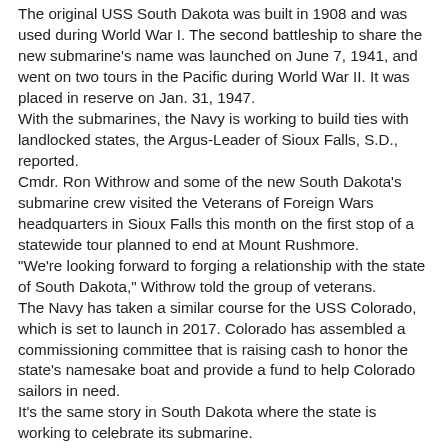The original USS South Dakota was built in 1908 and was used during World War I. The second battleship to share the new submarine's name was launched on June 7, 1941, and went on two tours in the Pacific during World War II. It was placed in reserve on Jan. 31, 1947.
With the submarines, the Navy is working to build ties with landlocked states, the Argus-Leader of Sioux Falls, S.D., reported.
Cmdr. Ron Withrow and some of the new South Dakota's submarine crew visited the Veterans of Foreign Wars headquarters in Sioux Falls this month on the first stop of a statewide tour planned to end at Mount Rushmore.
"We're looking forward to forging a relationship with the state of South Dakota," Withrow told the group of veterans.
The Navy has taken a similar course for the USS Colorado, which is set to launch in 2017. Colorado has assembled a commissioning committee that is raising cash to honor the state's namesake boat and provide a fund to help Colorado sailors in need.
It's the same story in South Dakota where the state is working to celebrate its submarine.
"This namesake will be more than a fleeting, ceremonial connection between the new submarine and our state."